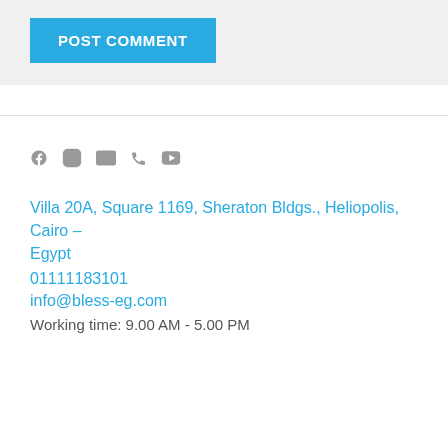[Figure (other): POST COMMENT button with cyan/blue background and white bold text]
[Figure (other): Social media icons: Facebook, Instagram, Email, Phone, YouTube — all in gray]
Villa 20A, Square 1169, Sheraton Bldgs., Heliopolis, Cairo – Egypt
01111183101
info@bless-eg.com
Working time: 9.00 AM - 5.00 PM